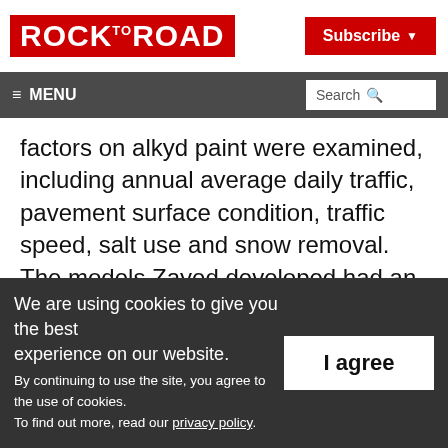ROCK TO ROAD | Subscribe
≡ MENU | Search
factors on alkyd paint were examined, including annual average daily traffic, pavement surface condition, traffic speed, salt use and snow removal. The models Zayed developed had an average validity range of 87 to 99 per cent, and they were made available
We are using cookies to give you the best experience on our website. By continuing to use the site, you agree to the use of cookies. To find out more, read our privacy policy.
I agree